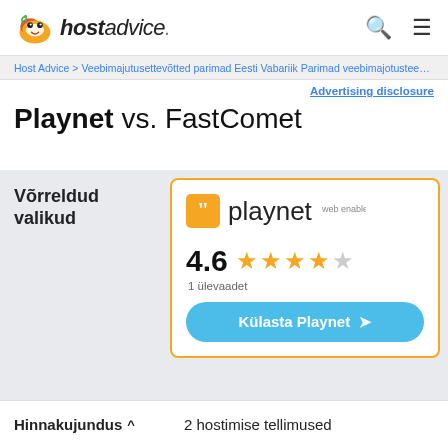hostadvice.
Host Advice > Veebimajutusettevõtted parimad Eesti Vabariik Parimad veebimajotusteenused
Advertising disclosure
Playnet vs. FastComet
Võrreldud valikud
[Figure (logo): Playnet web enabler logo — orange square with quotation mark icon and playnet text]
4.6 ★★★★☆ 1 ülevaadet
Külasta Playnet
Hinnakujundus
2 hostimise tellimused